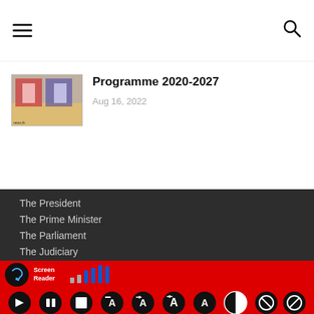Navigation menu and search icons
Programme 2020-2027
Aug 16, 2022
The President
The Prime Minister
The Parliament
The Judiciary
[Figure (screenshot): Screen Reader accessibility toolbar with signal bars icon, play/pause/stop controls, font size controls, contrast toggle, and mute icons on a red background]